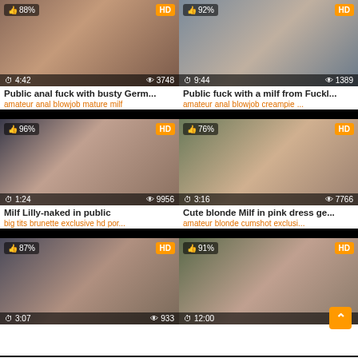[Figure (screenshot): Video thumbnail grid showing 6 adult video thumbnails with titles, tags, duration, and view counts]
Public anal fuck with busty Germ...
amateur anal blowjob mature milf
Public fuck with a milf from Fuckl...
amateur anal blowjob creampie ...
Milf Lilly-naked in public
big tits brunette exclusive hd por...
Cute blonde Milf in pink dress ge...
amateur blonde cumshot exclusi...